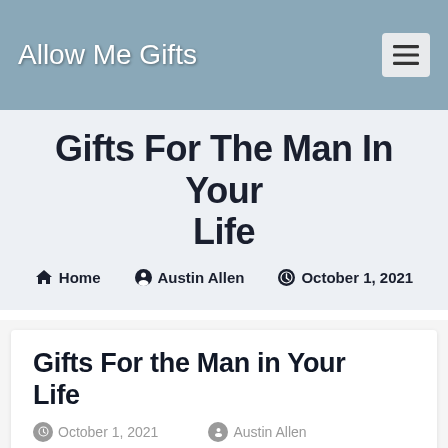Allow Me Gifts
Gifts For The Man In Your Life
Home  Austin Allen  October 1, 2021
Gifts For the Man in Your Life
October 1, 2021  Austin Allen